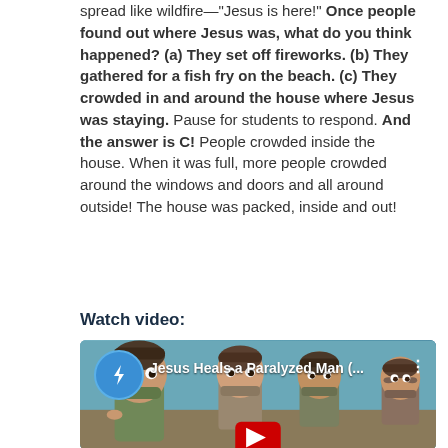spread like wildfire—"Jesus is here!" Once people found out where Jesus was, what do you think happened? (a) They set off fireworks. (b) They gathered for a fish fry on the beach. (c) They crowded in and around the house where Jesus was staying. Pause for students to respond. And the answer is C! People crowded inside the house. When it was full, more people crowded around the windows and doors and all around outside! The house was packed, inside and out!
Watch video:
[Figure (screenshot): YouTube video thumbnail showing animated cartoon characters (bearded men) with title 'Jesus Heals a Paralyzed Man (...)' and a blue channel icon with lightning bolt, red play button at bottom center.]